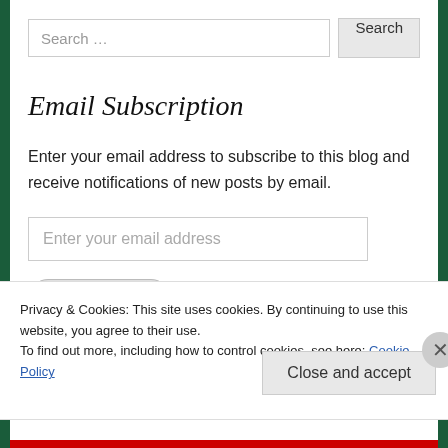Search …
Email Subscription
Enter your email address to subscribe to this blog and receive notifications of new posts by email.
Enter your email address
Sign me up!
Privacy & Cookies: This site uses cookies. By continuing to use this website, you agree to their use.
To find out more, including how to control cookies, see here: Cookie Policy
Close and accept